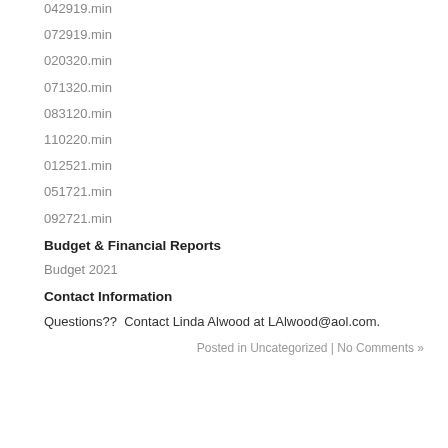042919.min
072919.min
020320.min
071320.min
083120.min
110220.min
012521.min
051721.min
092721.min
Budget & Financial Reports
Budget 2021
Contact Information
Questions??  Contact Linda Alwood at LAlwood@aol.com.
Posted in Uncategorized | No Comments »